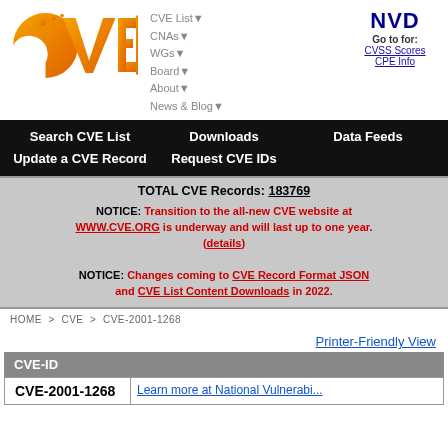[Figure (logo): CVE logo (orange gradient letters) and NVD logo with navigation menu]
Search CVE List   Downloads   Data Feeds   Update a CVE Record   Request CVE IDs
TOTAL CVE Records: 183769
NOTICE: Transition to the all-new CVE website at WWW.CVE.ORG is underway and will last up to one year. (details)
NOTICE: Changes coming to CVE Record Format JSON and CVE List Content Downloads in 2022.
HOME > CVE > CVE-2001-1268
Printer-Friendly View
| CVE-ID |
| --- |
| CVE-2001-1268 | Learn more at National Vulnerabi... |